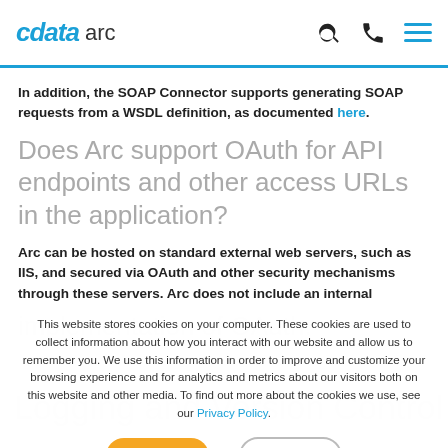cdata arc
In addition, the SOAP Connector supports generating SOAP requests from a WSDL definition, as documented here.
Does Arc support OAuth for API endpoints and other access URLs in the application?
Arc can be hosted on standard external web servers, such as IIS, and secured via OAuth and other security mechanisms through these servers. Arc does not include an internal implementation of OAuth.
This website stores cookies on your computer. These cookies are used to collect information about how you interact with our website and allow us to remember you. We use this information in order to improve and customize your browsing experience and for analytics and metrics about our visitors both on this website and other media. To find out more about the cookies we use, see our Privacy Policy.
Logging and Version Control